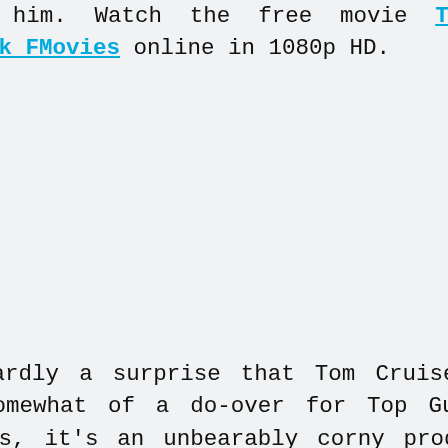ground him. Watch the free movie Top Gun Maverick FMovies online in 1080p HD.
It's hardly a surprise that Tom Cruise would want somewhat of a do-over for Top Gun. For starters, it's an unbearably corny product of the 1980s that's rampant homoeroticism (it drips from every scene just like sweat trickling down the characters' chiseled bodies playing volleyball) is the one source of fun besides the